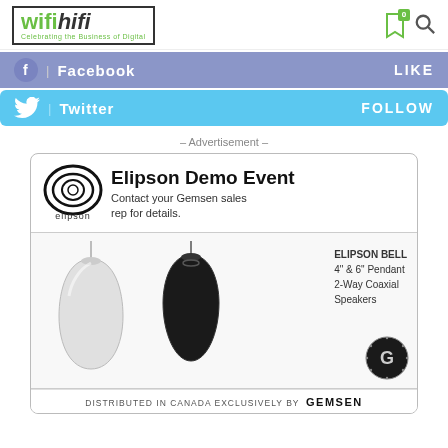[Figure (logo): wifihifi logo with tagline 'Celebrating the Business of Digital']
[Figure (infographic): Facebook LIKE social bar in purple/blue]
[Figure (infographic): Twitter FOLLOW social bar in light blue]
– Advertisement –
[Figure (photo): Elipson Demo Event advertisement showing white and black pendant speakers (Elipson Bell 4" & 6" Pendant 2-Way Coaxial Speakers), distributed in Canada exclusively by Gemsen]